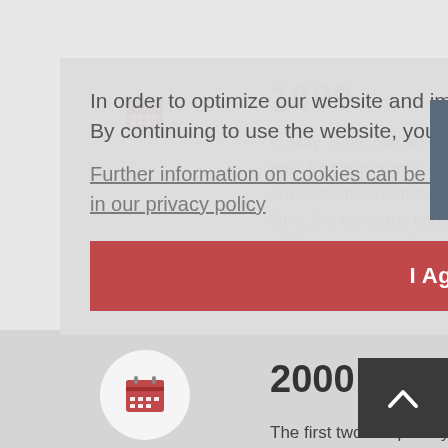1999
In May 1999, two articulated lorries meet their first orders in a 24-hour operation for our customer Brenntag in Bremen. At this time, the company consisted of a core team of 7 employees, who remain the foundations of the business today.
In order to optimize our website and improve it continuously, we use cookies. By continuing to use the website, you agree to the use of cookies.
Further information on cookies can be found in our privacy policy
I Agreed
2000
The first two swap-body trucks for hazardous freight transports and 10 swap bodies are purchased in February. Owner Peter Bassen has always strongly emphasized the need for all trucks to meet the latest technical requirements and for all